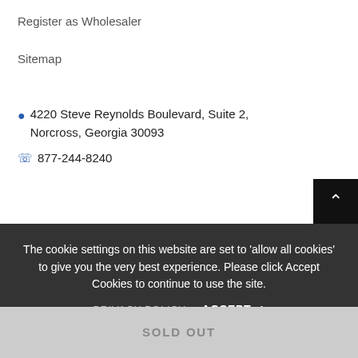Register as Wholesaler
Sitemap
📍 4220 Steve Reynolds Boulevard, Suite 2, Norcross, Georgia 30093
📞 877-244-8240
The cookie settings on this website are set to 'allow all cookies' to give you the very best experience. Please click Accept Cookies to continue to use the site.
PRIVACY POLICY   ACCEPT ✔
wholesalereqs@csrall.com
orders@budowall.com
SOLD OUT